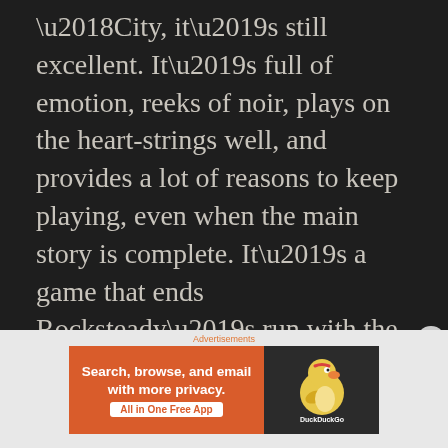'City, it's still excellent.  It's full of emotion, reeks of noir, plays on the heart-strings well, and provides a lot of reasons to keep playing, even when the main story is complete.  It's a game that ends Rocksteady's run with the franchise on a high note, and an excellent reason to get a next-gen console (but not the PC version, which was said to have been a disaster).
Graphics: ****3/4
[Figure (other): DuckDuckGo advertisement banner: orange left panel with text 'Search, browse, and email with more privacy. All in One Free App', dark right panel with DuckDuckGo duck logo]